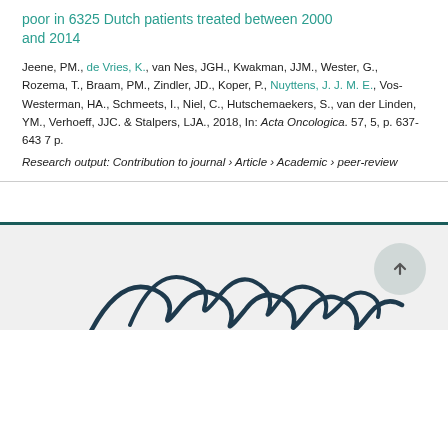poor in 6325 Dutch patients treated between 2000 and 2014
Jeene, PM., de Vries, K., van Nes, JGH., Kwakman, JJM., Wester, G., Rozema, T., Braam, PM., Zindler, JD., Koper, P., Nuyttens, J. J. M. E., Vos-Westerman, HA., Schmeets, I., Niel, C., Hutschemaekers, S., van der Linden, YM., Verhoeff, JJC. & Stalpers, LJA., 2018, In: Acta Oncologica. 57, 5, p. 637-643 7 p.
Research output: Contribution to journal › Article › Academic › peer-review
[Figure (logo): Erasmus University or similar institution logo in dark navy script font at bottom of page, partially visible]